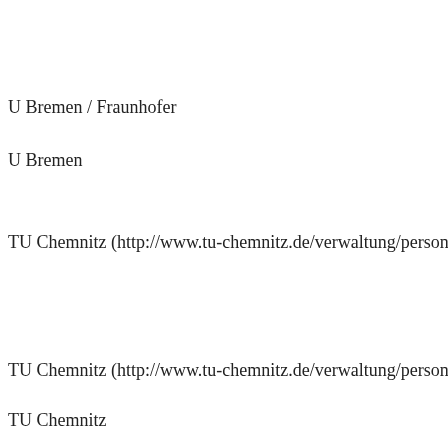U Bremen / Fraunhofer
U Bremen
TU Chemnitz (http://www.tu-chemnitz.de/verwaltung/personal/stellen…
TU Chemnitz (http://www.tu-chemnitz.de/verwaltung/personal/stellen…
TU Chemnitz
TU Chemnitz…